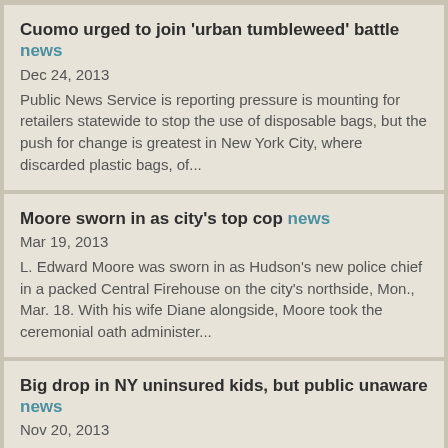Cuomo urged to join 'urban tumbleweed' battle news
Dec 24, 2013
Public News Service is reporting pressure is mounting for retailers statewide to stop the use of disposable bags, but the push for change is greatest in New York City, where discarded plastic bags, of...
Moore sworn in as city's top cop news
Mar 19, 2013
L. Edward Moore was sworn in as Hudson's new police chief in a packed Central Firehouse on the city's northside, Mon., Mar. 18. With his wife Diane alongside, Moore took the ceremonial oath administer...
Big drop in NY uninsured kids, but public unaware news
Nov 20, 2013
Public News Service is reporting New York has made great strides in reducing the number of children without